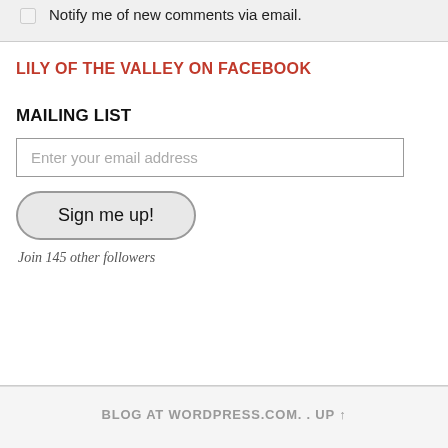Notify me of new comments via email.
LILY OF THE VALLEY ON FACEBOOK
MAILING LIST
Enter your email address
Sign me up!
Join 145 other followers
BLOG AT WORDPRESS.COM. . UP ↑